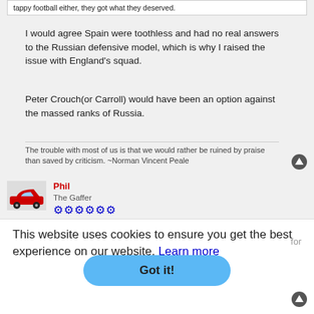tappy football either, they got what they deserved.
I would agree Spain were toothless and had no real answers to the Russian defensive model, which is why I raised the issue with England's squad.
Peter Crouch(or Carroll) would have been an option against the massed ranks of Russia.
The trouble with most of us is that we would rather be ruined by praise than saved by criticism. ~Norman Vincent Peale
Phil
The Gaffer
Manager
This website uses cookies to ensure you get the best experience on our website. Learn more
for
Got it!